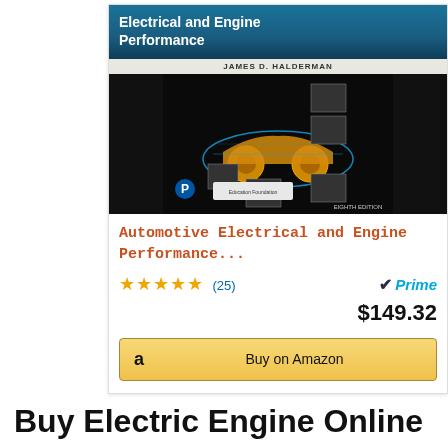[Figure (screenshot): Amazon product listing for 'Automotive Electrical and Engine Performance' by James D. Halderman, Eighth Edition. Shows book cover with blue car diagram, 5-star rating (25 reviews), Prime badge, price $149.32, and Buy on Amazon button.]
Buy Electric Engine Online